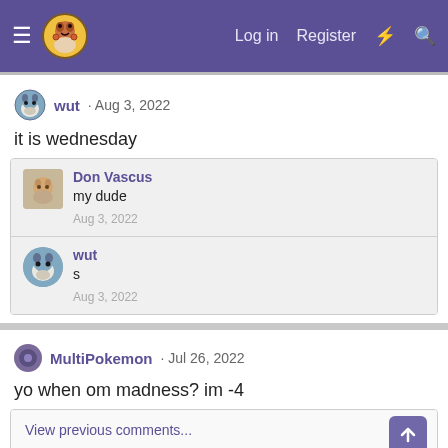Navigation bar with hamburger menu, logo, Log in, Register, and search icons
wut · Aug 3, 2022
it is wednesday
Don Vascus
my dude
Aug 3, 2022
wut
s
Aug 3, 2022
MultiPokemon · Jul 26, 2022
yo when om madness? im -4
View previous comments...
Don Vascus
i can rn